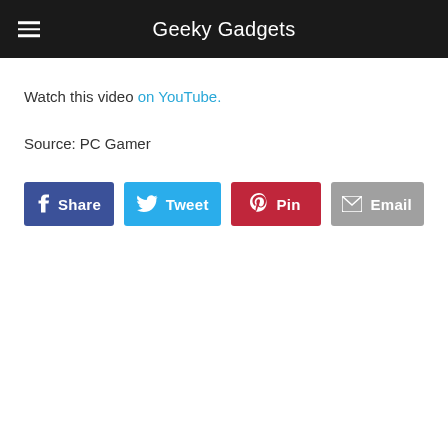Geeky Gadgets
Watch this video on YouTube.
Source: PC Gamer
[Figure (infographic): Four social share buttons: Share (Facebook, blue), Tweet (Twitter, light blue), Pin (Pinterest, red), Email (gray)]